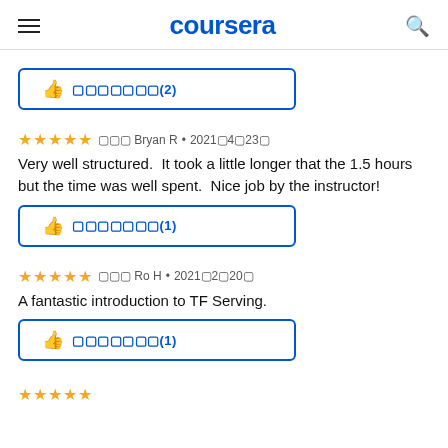coursera
[Figure (other): Helpful button with thumbs up icon and text showing 役に立った(2)]
★★★★★  による Bryan R • 2021年4月23日
Very well structured.  It took a little longer that the 1.5 hours but the time was well spent.  Nice job by the instructor!
[Figure (other): Helpful button with thumbs up icon and text showing 役に立った(1)]
★★★★★  による Ro H • 2021年2月20日
A fantastic introduction to TF Serving.
[Figure (other): Helpful button with thumbs up icon and text showing 役に立った(1)]